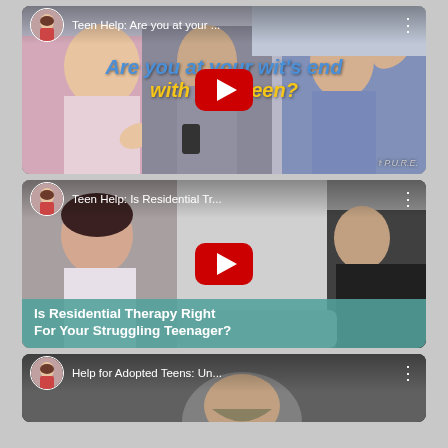[Figure (screenshot): YouTube video thumbnail for 'Teen Help: Are you at your...' showing a family conflict scene with blue/yellow italic text overlay 'Are you at your wit's end with your teen?' and red YouTube play button. Avatar of a woman in top-left corner. P.U.R.E. logo bottom-right.]
[Figure (screenshot): YouTube video thumbnail for 'Teen Help: Is Residential Tr...' showing a woman in therapy session scene with teal banner text 'Is Residential Therapy Right For Your Struggling Teenager?' and red YouTube play button. Avatar of woman in top-left.]
[Figure (screenshot): YouTube video thumbnail for 'Help for Adopted Teens: Un...' showing partial view of a person with head down, dark background. Avatar of woman in top-left corner. Title partially visible.]